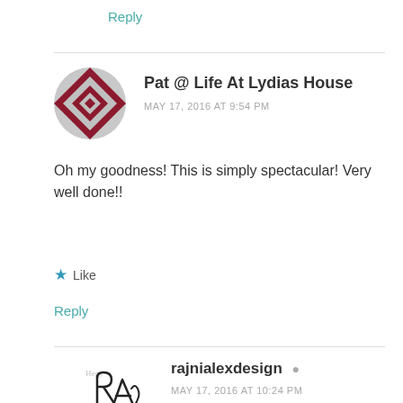Reply
[Figure (illustration): Avatar for Pat @ Life At Lydias House: circular avatar with dark red/maroon geometric diamond quilt pattern]
Pat @ Life At Lydias House
MAY 17, 2016 AT 9:54 PM
Oh my goodness! This is simply spectacular! Very well done!!
Like
Reply
[Figure (illustration): Avatar for rajnialexdesign: handwritten signature logo in cursive script]
rajnialexdesign
MAY 17, 2016 AT 10:24 PM